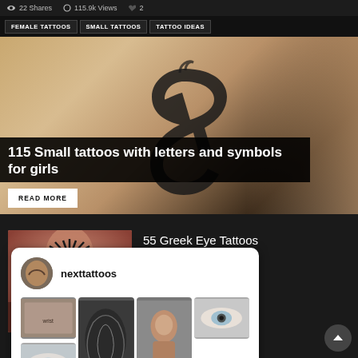22 Shares  115.9k Views  2
FEMALE TATTOOS  SMALL TATTOOS  TATTOO IDEAS
115 Small tattoos with letters and symbols for girls
READ MORE
[Figure (photo): Tattoo ampersand symbol and feet on wooden floor]
55 Greek Eye Tattoos
READ MORE
[Figure (photo): Greek eye tattoo on back of neck]
[Figure (screenshot): nexttattoos Pinterest widget showing profile and grid of tattoo photos]
nexttattoos